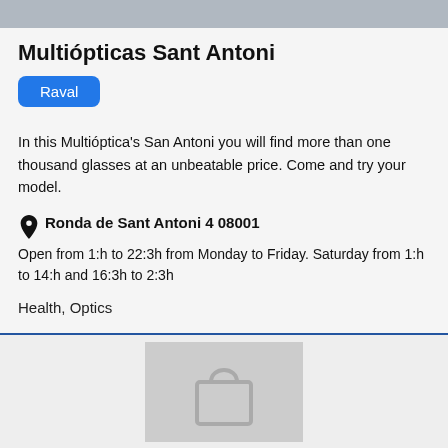[Figure (photo): Top portion of a store/location photo, cropped]
Multiópticas Sant Antoni
Raval
In this Multióptica's San Antoni you will find more than one thousand glasses at an unbeatable price. Come and try your model.
Ronda de Sant Antoni 4 08001
Open from 1:h to 22:3h from Monday to Friday. Saturday from 1:h to 14:h and 16:3h to 2:3h
Health, Optics
[Figure (illustration): Placeholder image with shopping bag icon on grey background]